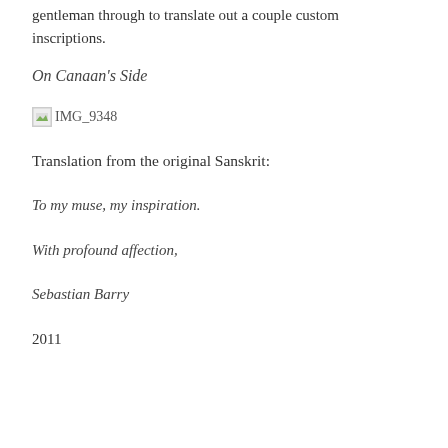gentleman through to translate out a couple custom inscriptions.
On Canaan's Side
[Figure (photo): Broken image placeholder labeled IMG_9348]
Translation from the original Sanskrit:
To my muse, my inspiration.
With profound affection,
Sebastian Barry
2011